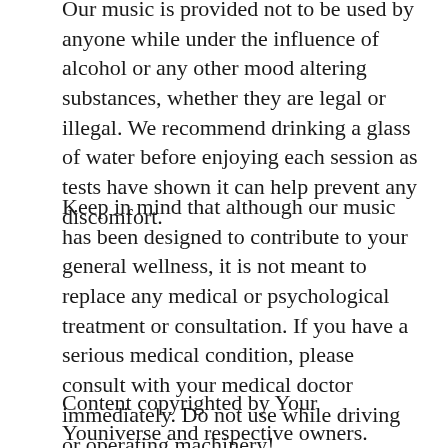Our music is provided not to be used by anyone while under the influence of alcohol or any other mood altering substances, whether they are legal or illegal. We recommend drinking a glass of water before enjoying each session as tests have shown it can help prevent any discomfort.
Keep in mind that although our music has been designed to contribute to your general wellness, it is not meant to replace any medical or psychological treatment or consultation. If you have a serious medical condition, please consult with your medical doctor immediately. Do not use while driving or operating machinery!
Content copyrighted by Your Youniverse and respective owners.
By purchasing this product, you agree to our terms of use.